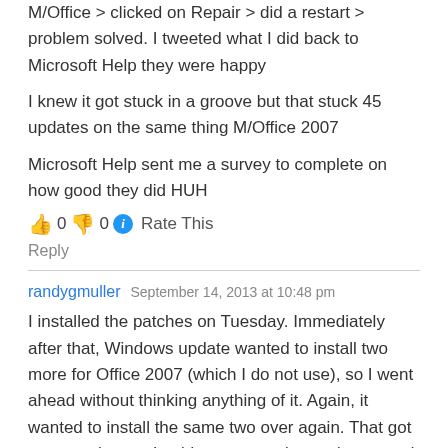M/Office > clicked on Repair > did a restart > problem solved. I tweeted what I did back to Microsoft Help they were happy
I knew it got stuck in a groove but that stuck 45 updates on the same thing M/Office 2007
Microsoft Help sent me a survey to complete on how good they did HUH
👍 0 👎 0 ℹ Rate This
Reply
randygmuller   September 14, 2013 at 10:48 pm
I installed the patches on Tuesday. Immediately after that, Windows update wanted to install two more for Office 2007 (which I do not use), so I went ahead without thinking anything of it. Again, it wanted to install the same two over again. That got my attention, so I paid more attention and went and